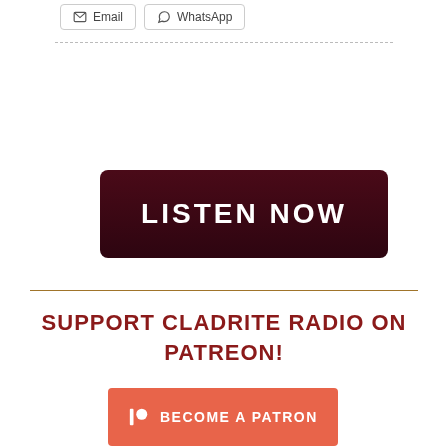[Figure (screenshot): Email and WhatsApp share buttons at top of page]
[Figure (screenshot): Dark maroon 'LISTEN NOW' button]
SUPPORT CLADRITE RADIO ON PATREON!
[Figure (screenshot): Orange 'BECOME A PATRON' button with Patreon logo]